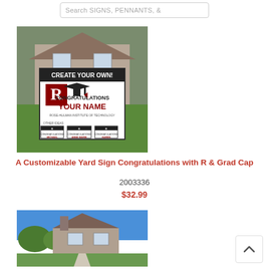Search SIGNS, PENNANTS, &
[Figure (photo): Customizable yard sign product image showing a lawn sign with 'CREATE YOUR OWN!' text, a Rose-Hulman R logo with graduation cap, 'CONGRATULATIONS YOUR NAME' and sample names Michael, Anne Marie, Karen on smaller signs in front of a house]
A Customizable Yard Sign Congratulations with R & Grad Cap
2003336
$32.99
[Figure (photo): A suburban house exterior with blue sky background, partial view showing rooftop and upper portion]
[Figure (other): Scroll to top button with upward arrow chevron]